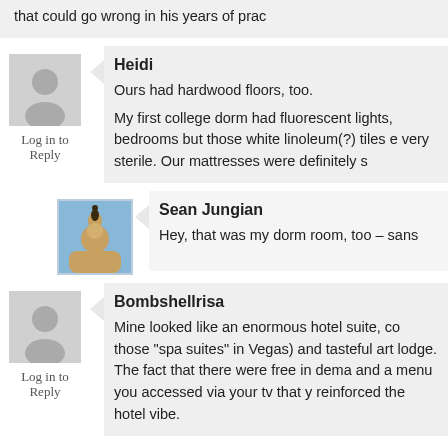that could go wrong in his years of prac
Heidi
Ours had hardwood floors, too.
My first college dorm had fluorescent lights, bedrooms but those white linoleum(?) tiles e very sterile. Our mattresses were definitely s
Log in to Reply
Sean Jungian
Hey, that was my dorm room, too – sans
Bombshellrisa
Mine looked like an enormous hotel suite, co those "spa suites" in Vegas) and tasteful art lodge. The fact that there were free in dema and a menu you accessed via your tv that y reinforced the hotel vibe.
Log in to Reply